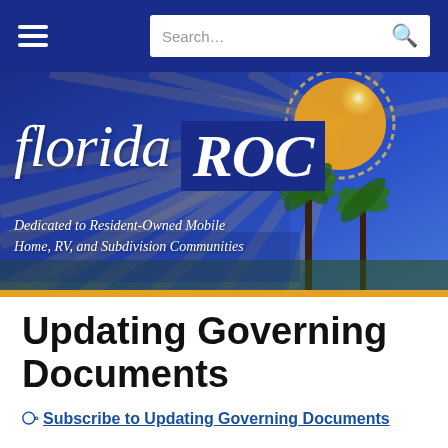[Figure (screenshot): Website navigation bar with hamburger menu icon on left and search bar on right, dark blue background]
[Figure (illustration): Florida ROC website banner with illustrated Florida sunset, palm trees, sun with rays in blue and gold. Text reads 'florida ROC' and 'Dedicated to Resident-Owned Mobile Home, RV, and Subdivision Communities']
Updating Governing Documents
Subscribe to Updating Governing Documents